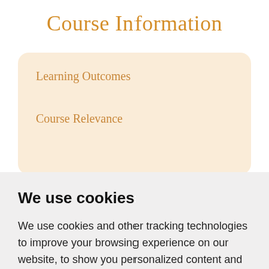Course Information
Learning Outcomes
Course Relevance
We use cookies
We use cookies and other tracking technologies to improve your browsing experience on our website, to show you personalized content and targeted ads, to analyze our website traffic, and